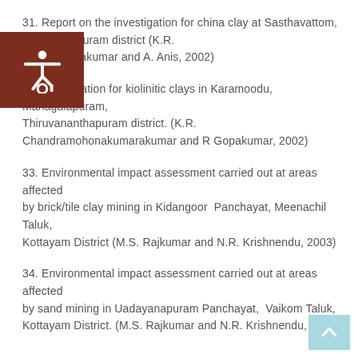31. Report on the investigation for china clay at Sasthavattom, Thiruvananthapuram district (K.R. Chandramohanakumar and A. Anis, 2002)
32. Investigation for kiolinitic clays in Karamoodu, Managalapuram, Thiruvananthapuram district. (K.R. Chandramohonakumarakumar and R Gopakumar, 2002)
33. Environmental impact assessment carried out at areas affected by brick/tile clay mining in Kidangoor Panchayat, Meenachil Taluk, Kottayam District (M.S. Rajkumar and N.R. Krishnendu, 2003)
34. Environmental impact assessment carried out at areas affected by sand mining in Uadayanapuram Panchayat, Vaikom Taluk, Kottayam District. (M.S. Rajkumar and N.R. Krishnendu, 2003)